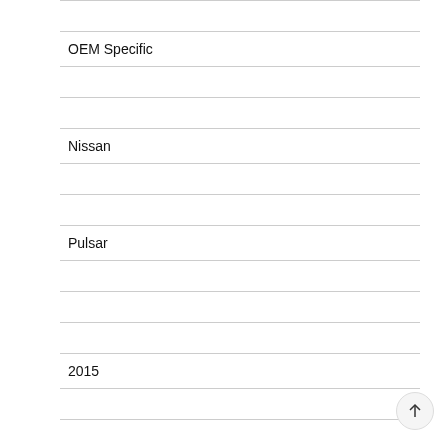|  |
| OEM Specific |
|  |
|  |
| Nissan |
|  |
|  |
| Pulsar |
|  |
|  |
|  |
| 2015 |
|  |
|  |
|  |
|  |
|  |
| OEM Specific |
|  |
|  |
| Nissan |
|  |
|  |